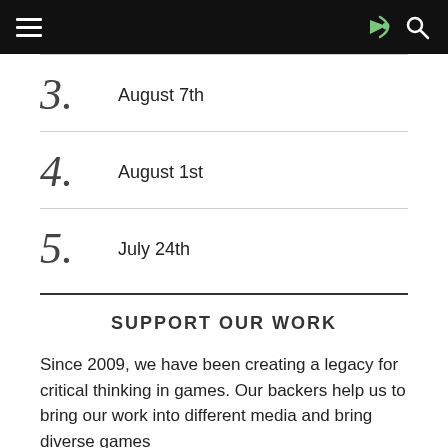3. August 7th
4. August 1st
5. July 24th
SUPPORT OUR WORK
Since 2009, we have been creating a legacy for critical thinking in games. Our backers help us to bring our work into different media and bring diverse games